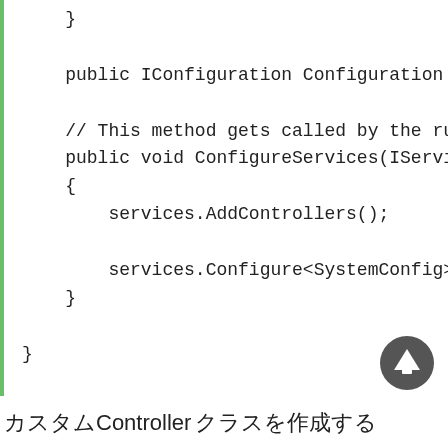}

    public IConfiguration Configuration { get;

    // This method gets called by the runtime.
    public void ConfigureServices(IServiceColl
    {
        services.AddControllers();

        services.Configure<SystemConfig>(Cor
    }

}
カスタムControllerクラスを作成する